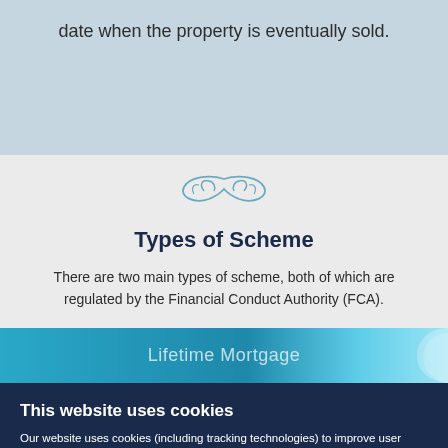date when the property is eventually sold.
[Figure (illustration): Decorative blue wave/scroll ornament]
Types of Scheme
There are two main types of scheme, both of which are regulated by the Financial Conduct Authority (FCA).
Lifetime Mortgage
This website uses cookies
Our website uses cookies (including tracking technologies) to improve user experience and provide appropriate information. If you continue on this website you will be providing your consent to our use of these. You can see our cookies and learn more about them on our cookie policy.
Show details
Accept